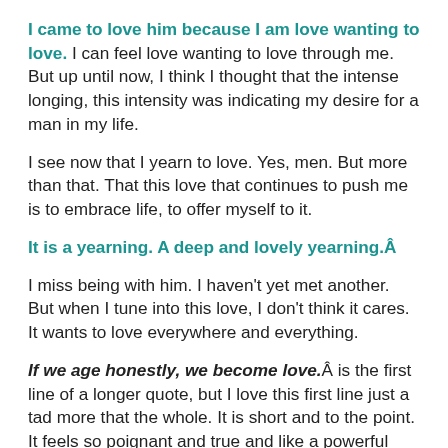I came to love him because I am love wanting to love. I can feel love wanting to love through me. But up until now, I think I thought that the intense longing, this intensity was indicating my desire for a man in my life.
I see now that I yearn to love. Yes, men. But more than that. That this love that continues to push me is to embrace life, to offer myself to it.
It is a yearning. A deep and lovely yearning.Â
I miss being with him. I haven't yet met another. But when I tune into this love, I don't think it cares. It wants to love everywhere and everything.
If we age honestly, we become love.Â is the first line of a longer quote, but I love this first line just a tad more that the whole. It is short and to the point. It feels so poignant and true and like a powerful punch to the gut.